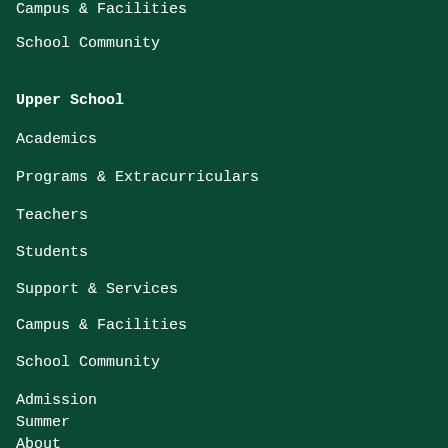Campus & Facilities
School Community
Upper School
Academics
Programs & Extracurriculars
Teachers
Students
Support & Services
Campus & Facilities
School Community
Admission
Summer
About